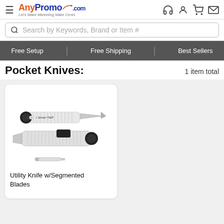AnyPromo.com — Let's Make Marketing Make Cents
Search by Keywords, Brand or Item #
Free Setup   Free Shipping   Best Sellers
Pocket Knives:   1 item total
[Figure (photo): Product photo of two utility knives with segmented blades, one with Emser Tile branding. White handle utility knives shown from the side.]
Utility Knife w/Segmented Blades